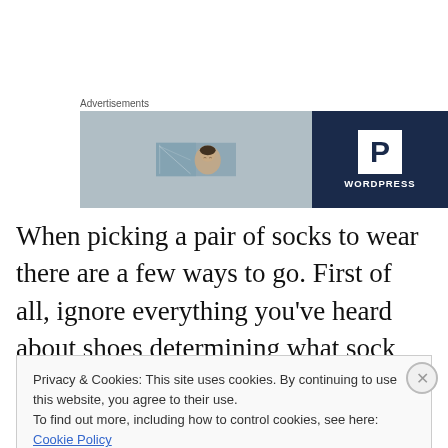Advertisements
[Figure (photo): Advertisement banner showing a WordPress logo (white P in a box) on a dark navy background on the right, and a blurred photo of a person on the left. The word WORDPRESS appears at the bottom right of the banner.]
When picking a pair of socks to wear there are a few ways to go. First of all, ignore everything you've heard about shoes determining what sock color you can wear. It's not
Privacy & Cookies: This site uses cookies. By continuing to use this website, you agree to their use.
To find out more, including how to control cookies, see here: Cookie Policy
Close and accept